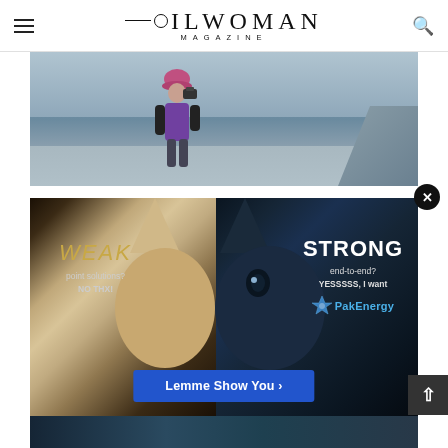OILWOMAN MAGAZINE
[Figure (photo): Person in purple vest and pink hat photographing a winter landscape, viewed from behind]
[Figure (infographic): Advertisement for PakEnergy showing a split wolf image with text: WEAK point solutions? NO THX! vs STRONG end-to-end? YESSSSS, I want PakEnergy. Call-to-action button: Lemme Show You.]
[Figure (photo): Partial bottom strip of another photo, appears to be technology/device related]